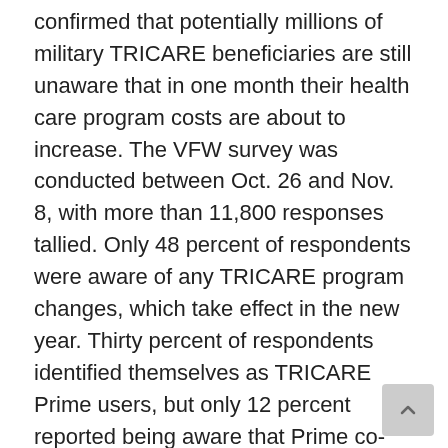confirmed that potentially millions of military TRICARE beneficiaries are still unaware that in one month their health care program costs are about to increase. The VFW survey was conducted between Oct. 26 and Nov. 8, with more than 11,800 responses tallied. Only 48 percent of respondents were aware of any TRICARE program changes, which take effect in the new year. Thirty percent of respondents identified themselves as TRICARE Prime users, but only 12 percent reported being aware that Prime co-payments for military retirees were increasing. TRICARE reports 4.6 million beneficiaries in its Prime category, and 1.94 million using either TRICARE Standard or Extra. The changes were mandated by the fiscal year 2017 National Defense Authorization Act. Also beginning Jan. 1, TRICARE Select replaces TRICARE Standard and Extra, and with it comes a new flat-rate co-payment and